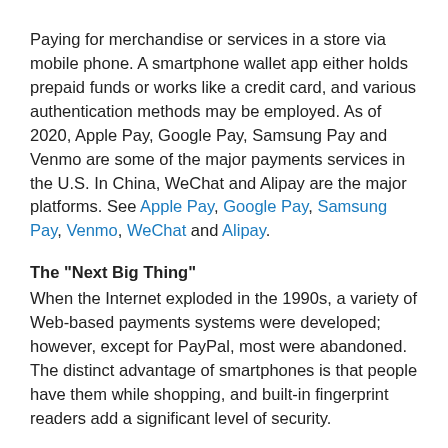Paying for merchandise or services in a store via mobile phone. A smartphone wallet app either holds prepaid funds or works like a credit card, and various authentication methods may be employed. As of 2020, Apple Pay, Google Pay, Samsung Pay and Venmo are some of the major payments services in the U.S. In China, WeChat and Alipay are the major platforms. See Apple Pay, Google Pay, Samsung Pay, Venmo, WeChat and Alipay.
The "Next Big Thing"
When the Internet exploded in the 1990s, a variety of Web-based payments systems were developed; however, except for PayPal, most were abandoned. The distinct advantage of smartphones is that people have them while shopping, and built-in fingerprint readers add a significant level of security.